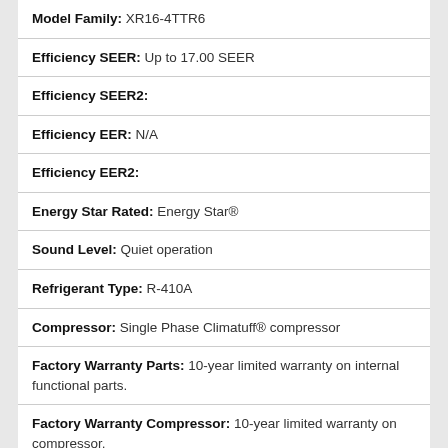Model Family: XR16-4TTR6
Efficiency SEER: Up to 17.00 SEER
Efficiency SEER2:
Efficiency EER: N/A
Efficiency EER2:
Energy Star Rated: Energy Star®
Sound Level: Quiet operation
Refrigerant Type: R-410A
Compressor: Single Phase Climatuff® compressor
Factory Warranty Parts: 10-year limited warranty on internal functional parts.
Factory Warranty Compressor: 10-year limited warranty on compressor.